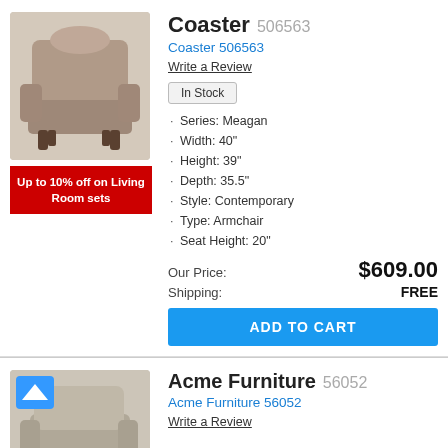[Figure (photo): Brown upholstered armchair product photo]
[Figure (infographic): Red promotional badge: Up to 10% off on Living Room sets]
Coaster 506563
Coaster 506563
Write a Review
In Stock
Series: Meagan
Width: 40"
Height: 39"
Depth: 35.5"
Style: Contemporary
Type: Armchair
Seat Height: 20"
Our Price: $609.00
Shipping: FREE
ADD TO CART
[Figure (photo): Gray/beige upholstered armchair product photo, second listing]
Acme Furniture 56052
Acme Furniture 56052
Write a Review